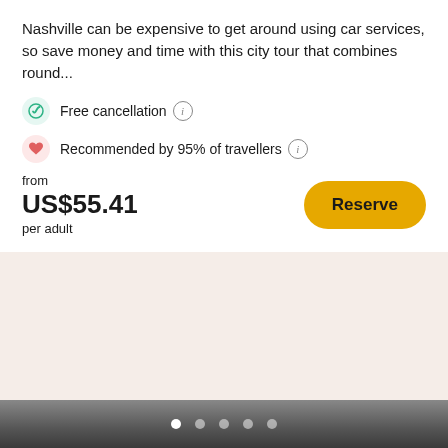Nashville can be expensive to get around using car services, so save money and time with this city tour that combines round...
Free cancellation
Recommended by 95% of travellers
from US$55.41 per adult
[Figure (screenshot): Beige/cream colored empty content area placeholder below the booking card]
[Figure (infographic): Dark gray navigation bar at the bottom with 5 pagination dots, first dot is white/active, rest are semi-transparent]